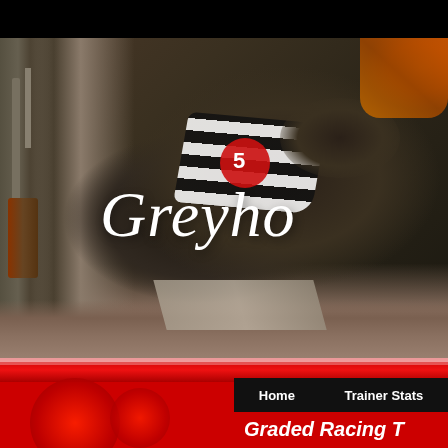[Figure (photo): A greyhound dog wearing a black and white striped racing jacket with a red circle numbered 5, bursting out of a starting box at a greyhound racing track. Another dog in an orange jacket is visible in the background top right. Sandy ground at track level.]
Greyho
Home    Trainer Stats
Graded Racing T